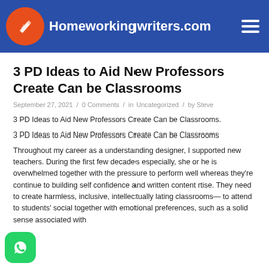Homeworkingwriters.com
3 PD Ideas to Aid New Professors Create Can be Classrooms
September 27, 2021 / 0 Comments / in Uncategorized / by Steve
3 PD Ideas to Aid New Professors Create Can be Classrooms.
3 PD Ideas to Aid New Professors Create Can be Classrooms
Throughout my career as a understanding designer, I supported new teachers. During the first few decades especially, she or he is overwhelmed together with the pressure to perform well whereas they're continue to building self confidence and written content rtise. They need to create harmless, inclusive, intellectually lating classrooms— to attend to students' social together with emotional preferences, such as a solid sense associated with